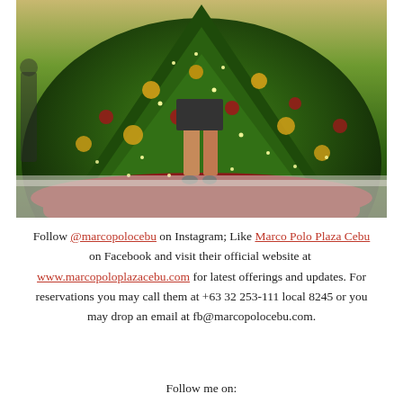[Figure (photo): Woman standing in front of a large decorated Christmas tree with gold and red ornaments, red tree skirt fabric on a marble floor]
Follow @marcopolocebu on Instagram; Like Marco Polo Plaza Cebu on Facebook and visit their official website at www.marcopoloplazacebu.com for latest offerings and updates. For reservations you may call them at +63 32 253-111 local 8245 or you may drop an email at fb@marcopolocebu.com.
Follow me on: